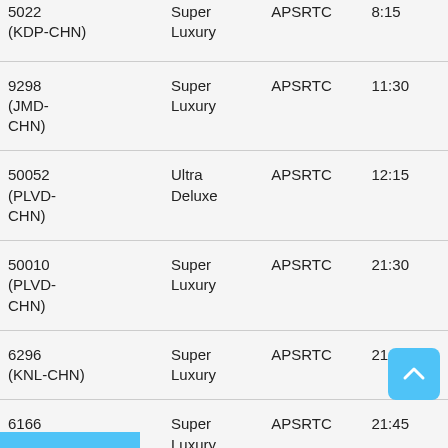| 5022 (KDP-CHN) | Super Luxury | APSRTC | 8:15 |
| 9298 (JMD-CHN) | Super Luxury | APSRTC | 11:30 |
| 50052 (PLVD-CHN) | Ultra Deluxe | APSRTC | 12:15 |
| 50010 (PLVD-CHN) | Super Luxury | APSRTC | 21:30 |
| 6296 (KNL-CHN) | Super Luxury | APSRTC | 21:35 |
| 6166 (JMD-CHN) | Super Luxury | APSRTC | 21:45 |